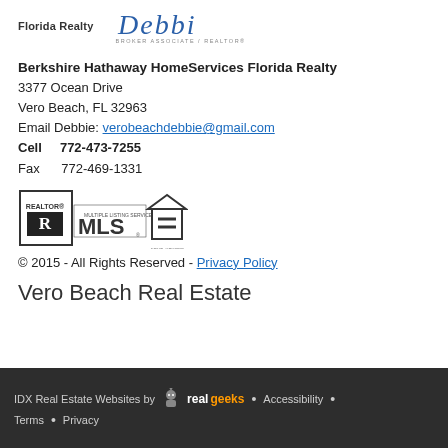[Figure (logo): Berkshire Hathaway HomeServices Florida Realty logo with script text and Broker Associate Realtor tag]
Berkshire Hathaway HomeServices Florida Realty
3377 Ocean Drive
Vero Beach, FL 32963
Email Debbie: verobeachdebbie@gmail.com
Cell    772-473-7255
Fax     772-469-1331
[Figure (logo): Realtor, MLS Multiple Listing Service, and Equal Housing Opportunity badges]
© 2015 - All Rights Reserved - Privacy Policy
Vero Beach Real Estate
IDX Real Estate Websites by RealGeeks • Accessibility • Terms • Privacy